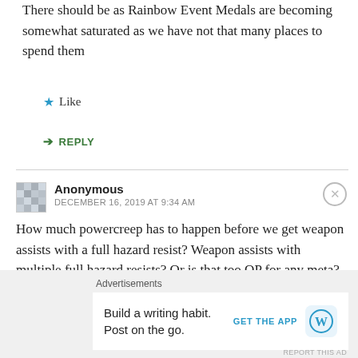There should be as Rainbow Event Medals are becoming somewhat saturated as we have not that many places to spend them
Like
REPLY
Anonymous
DECEMBER 16, 2019 AT 9:34 AM
How much powercreep has to happen before we get weapon assists with a full hazard resist? Weapon assists with multiple full hazard resists? Or is that too OP for any meta?
Advertisements
Build a writing habit. Post on the go.
GET THE APP
REPORT THIS AD